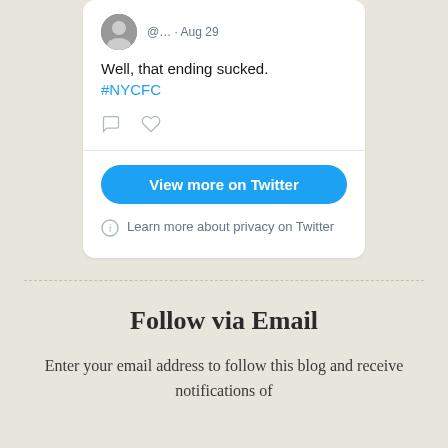[Figure (screenshot): Twitter/social media embed card showing a tweet with avatar, handle @... and date Aug 29, tweet text 'Well, that ending sucked. #NYCFC', comment and like icons, a 'View more on Twitter' button, and a privacy notice.]
Well, that ending sucked. #NYCFC
View more on Twitter
Learn more about privacy on Twitter
Follow via Email
Enter your email address to follow this blog and receive notifications of